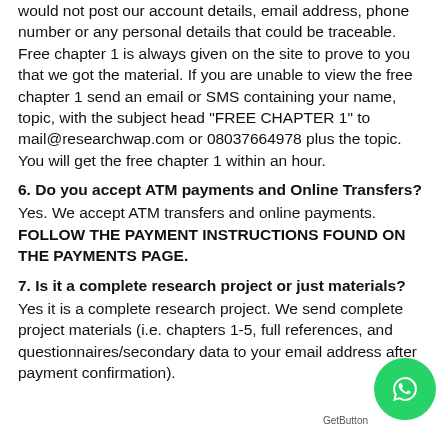would not post our account details, email address, phone number or any personal details that could be traceable. Free chapter 1 is always given on the site to prove to you that we got the material. If you are unable to view the free chapter 1 send an email or SMS containing your name, topic, with the subject head "FREE CHAPTER 1" to mail@researchwap.com or 08037664978 plus the topic. You will get the free chapter 1 within an hour.
6. Do you accept ATM payments and Online Transfers?
Yes. We accept ATM transfers and online payments. FOLLOW THE PAYMENT INSTRUCTIONS FOUND ON THE PAYMENTS PAGE.
7. Is it a complete research project or just materials?
Yes it is a complete research project. We send complete project materials (i.e. chapters 1-5, full references, and questionnaires/secondary data to your email address after payment confirmation).